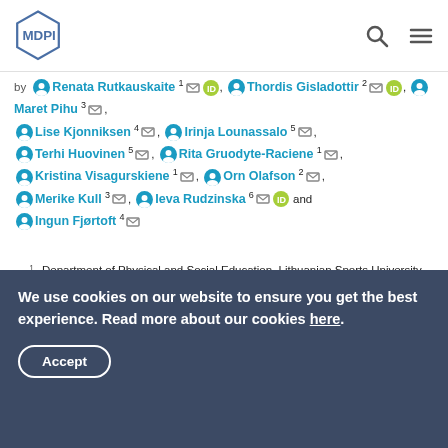MDPI logo with search and menu icons
by Renata Rutkauskaite 1, Thordis Gisladottir 2, Maret Pihu 3, Lise Kjonniksen 4, Irinja Lounassalo 5, Terhi Huovinen 5, Rita Gruodyte-Raciene 1, Kristina Visagurskiene 1, Orn Olafson 2, Merike Kull 3, Ieva Rudzinska 6 and Ingun Fjørtoft 4
1 Department of Physical and Social Education, Lithuanian Sports University, LT-44221 Kaunas, Lithuania
2 Research Centre for Sport and Health Sciences, School of Education, University of Iceland, 102 Reykjavík, Iceland
We use cookies on our website to ensure you get the best experience. Read more about our cookies here.
Accept